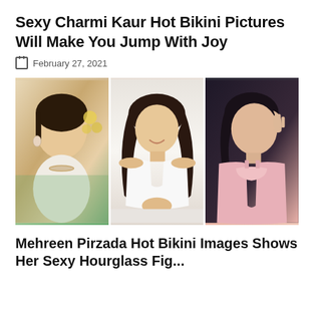Sexy Charmi Kaur Hot Bikini Pictures Will Make You Jump With Joy
February 27, 2021
[Figure (photo): Three photos of women side by side: left photo shows a woman in white traditional attire with jewelry and yellow flowers in background; center photo shows a woman in white off-shoulder top with long brown hair; right photo shows a woman in pink outfit against dark background.]
Mehreen Pirzada Hot Bikini Images Shows Her Sexy Hourglass Fig...